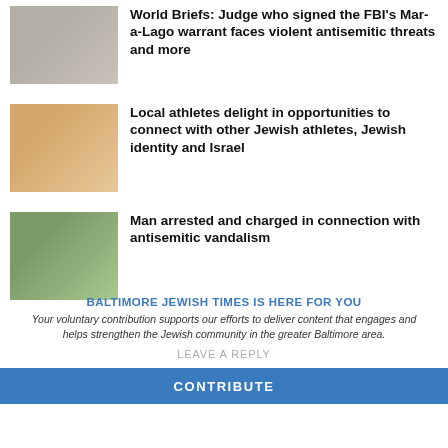[Figure (photo): Thumbnail photo related to Mar-a-Lago FBI warrant story]
World Briefs: Judge who signed the FBI's Mar-a-Lago warrant faces violent antisemitic threats and more
[Figure (photo): Group photo of young athletes in a gymnasium]
Local athletes delight in opportunities to connect with other Jewish athletes, Jewish identity and Israel
[Figure (photo): Photo of a building or structure with a Cox logo, outdoors]
Man arrested and charged in connection with antisemitic vandalism
BALTIMORE JEWISH TIMES IS HERE FOR YOU
Your voluntary contribution supports our efforts to deliver content that engages and helps strengthen the Jewish community in the greater Baltimore area.
LEAVE A REPLY
CONTRIBUTE